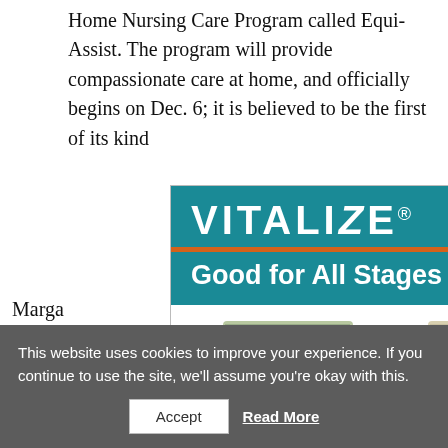Home Nursing Care Program called Equi-Assist. The program will provide compassionate care at home, and officially begins on Dec. 6; it is believed to be the first of its kind in the nation, and possibly the world.
Marga... horsew... in the ... onal experience... recogn... experience... tween hospita... owner could s... own. Once t... uiding
[Figure (illustration): Vitalize pet supplement advertisement showing a golden retriever running, with grid of dog breed categories (Breeding, Puppies, Adult Dogs, Senior Dogs) and product container]
This website uses cookies to improve your experience. If you continue to use the site, we'll assume you're okay with this.